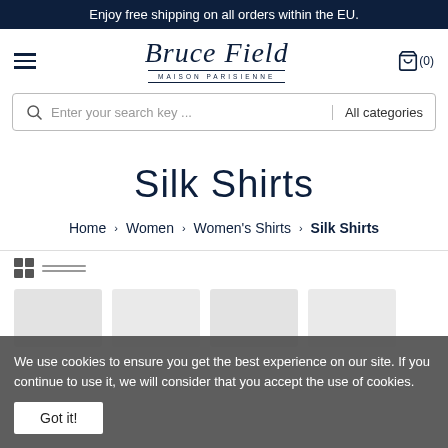Enjoy free shipping on all orders within the EU.
[Figure (logo): Bruce Field Maison Parisienne logo in dark navy script font]
Enter your search key ...   All categories
Silk Shirts
Home > Women > Women's Shirts > Silk Shirts
We use cookies to ensure you get the best experience on our site. If you continue to use it, we will consider that you accept the use of cookies.
Got it!